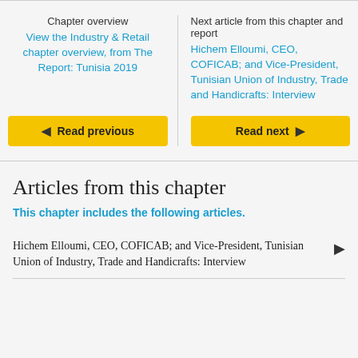Chapter overview
View the Industry & Retail chapter overview, from The Report: Tunisia 2019
Next article from this chapter and report
Hichem Elloumi, CEO, COFICAB; and Vice-President, Tunisian Union of Industry, Trade and Handicrafts: Interview
Read previous
Read next
Articles from this chapter
This chapter includes the following articles.
Hichem Elloumi, CEO, COFICAB; and Vice-President, Tunisian Union of Industry, Trade and Handicrafts: Interview